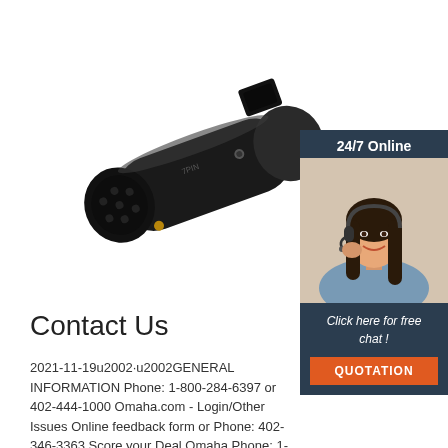[Figure (photo): Black cylindrical 7-pin trailer connector/socket product photo against white background]
[Figure (infographic): Customer service chat widget with '24/7 Online' header, photo of smiling woman with headset, 'Click here for free chat!' text, and orange QUOTATION button]
Contact Us
2021-11-19u2002 u2002GENERAL INFORMATION Phone: 1-800-284-6397 or 402-444-1000 Omaha.com - Login/Other Issues Online feedback form or Phone: 402-346-3363 Score your Deal Omaha Phone: 1-877-531-3216 Newspaper delivery ...